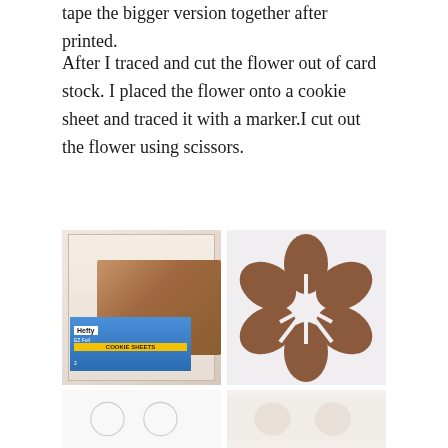tape the bigger version together after printed.
After I traced and cut the flower out of card stock. I placed the flower onto a cookie sheet and traced it with a marker.I cut out the flower using scissors.
[Figure (photo): A Hefty EZ Foil Cookie Sheets packaging showing cookie sheet product with food image on label]
[Figure (photo): A brown card stock flower shape cut out, showing a 5-petal flower with cuts from each petal to center]
[Figure (photo): Bottom left image showing circular traced outlines on a light surface]
[Figure (photo): Bottom right image showing light colored rounded shapes, possibly cut foam or material]